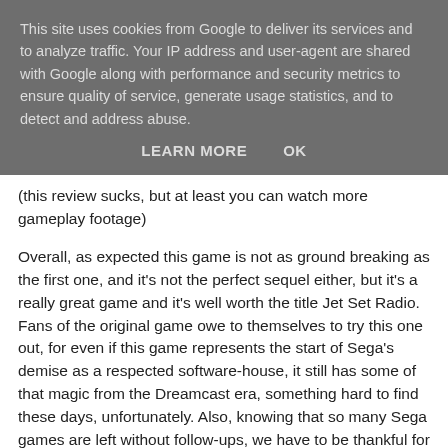This site uses cookies from Google to deliver its services and to analyze traffic. Your IP address and user-agent are shared with Google along with performance and security metrics to ensure quality of service, generate usage statistics, and to detect and address abuse.
LEARN MORE   OK
(this review sucks, but at least you can watch more gameplay footage)
Overall, as expected this game is not as ground breaking as the first one, and it's not the perfect sequel either, but it's a really great game and it's well worth the title Jet Set Radio. Fans of the original game owe to themselves to try this one out, for even if this game represents the start of Sega's demise as a respected software-house, it still has some of that magic from the Dreamcast era, something hard to find these days, unfortunately. Also, knowing that so many Sega games are left without follow-ups, we have to be thankful for the mere fact that this one exists.